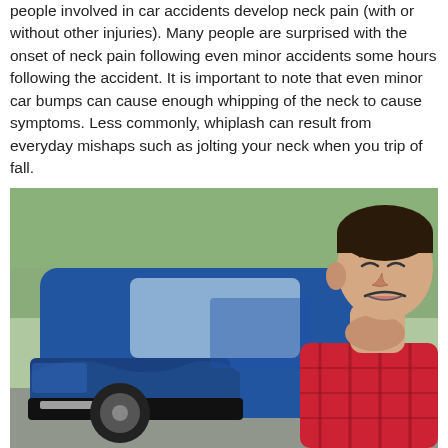people involved in car accidents develop neck pain (with or without other injuries). Many people are surprised with the onset of neck pain following even minor accidents some hours following the accident. It is important to note that even minor car bumps can cause enough whipping of the neck to cause symptoms. Less commonly, whiplash can result from everyday mishaps such as jolting your neck when you trip of fall.
[Figure (photo): A young man grimacing in pain and holding his neck with both hands, standing in front of a damaged blue SUV with a crumpled front bumper, outdoors with blurred green trees in background.]